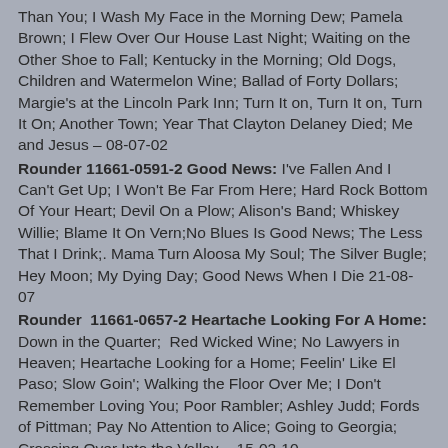Than You; I Wash My Face in the Morning Dew; Pamela Brown; I Flew Over Our House Last Night; Waiting on the Other Shoe to Fall; Kentucky in the Morning; Old Dogs, Children and Watermelon Wine; Ballad of Forty Dollars; Margie's at the Lincoln Park Inn; Turn It on, Turn It on, Turn It On; Another Town; Year That Clayton Delaney Died; Me and Jesus – 08-07-02
Rounder 11661-0591-2 Good News: I've Fallen And I Can't Get Up; I Won't Be Far From Here; Hard Rock Bottom Of Your Heart; Devil On a Plow; Alison's Band; Whiskey Willie; Blame It On Vern;No Blues Is Good News; The Less That I Drink;. Mama Turn Aloosa My Soul; The Silver Bugle; Hey Moon; My Dying Day; Good News When I Die 21-08-07
Rounder  11661-0657-2 Heartache Looking For A Home: Down in the Quarter;  Red Wicked Wine; No Lawyers in Heaven; Heartache Looking for a Home; Feelin' Like El Paso; Slow Goin'; Walking the Floor Over Me; I Don't Remember Loving You; Poor Rambler; Ashley Judd; Fords of Pittman; Pay No Attention to Alice; Going to Georgia; Crossing Over Into the Valley  - 15-02-10
SINGLES